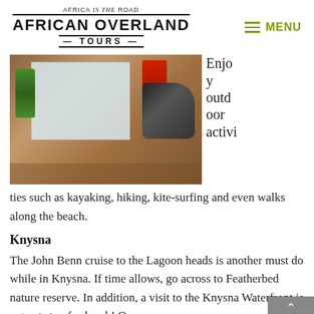AFRICA is the ROAD | AFRICAN OVERLAND TOURS | MENU
[Figure (photo): Overhead view of travel items on a wooden surface including a map, green juice bottle, children's sandals, and red package]
Enjoy outdoor activities such as kayaking, hiking, kite-surfing and even walks along the beach.
Knysna
The John Benn cruise to the Lagoon heads is another must do while in Knysna. If time allows, go across to Featherbed nature reserve. In addition, a visit to the Knysna Waterfront is a great stop for lunch! Or an